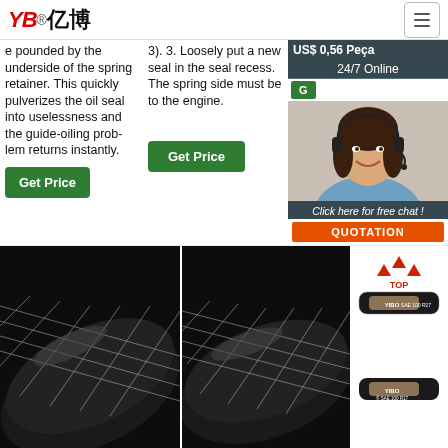[Figure (logo): YB亿博 logo in red and black]
e pounded by the underside of the spring retainer. This quickly pulverizes the oil seal into uselessness and the guide-oiling prob-lem returns instantly.
3). 3. Loosely put a new seal in the seal recess. The spring side must be to the engine.
US$ 0,56 Peça
24/7 Online
[Figure (photo): Woman with headset smiling, customer service representative]
Click here for free chat !
QUOTATION
[Figure (photo): Close-up of black braided hydraulic hose]
[Figure (photo): Close-up of black braided hydraulic hose]
[Figure (photo): YIBO SAE 100 R17 hydraulic hose product images with red arrow logo]